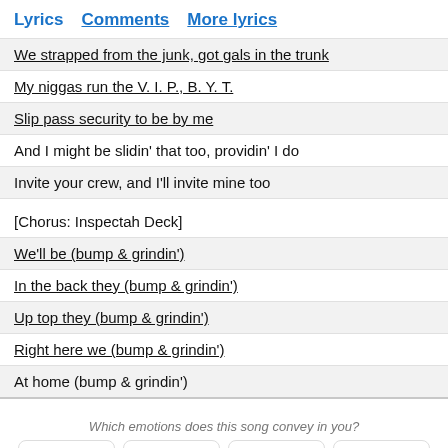Lyrics  Comments  More lyrics
We strapped from the junk, got gals in the trunk
My niggas run the V. I. P., B. Y. T.
Slip pass security to be by me
And I might be slidin' that too, providin' I do
Invite your crew, and I'll invite mine too
[Chorus: Inspectah Deck]
We'll be (bump & grindin')
In the back they (bump & grindin')
Up top they (bump & grindin')
Right here we (bump & grindin')
At home (bump & grindin')
Which emotions does this song convey in you?
Funny  Love  Angry  Sad